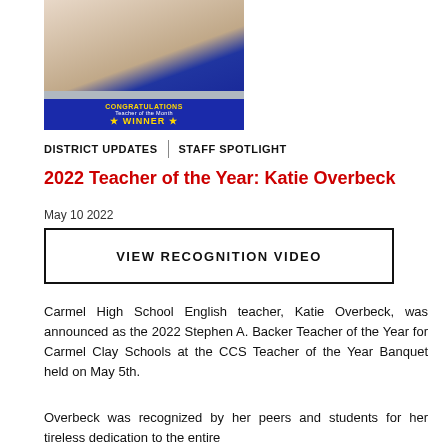[Figure (photo): Woman holding a blue 'Congratulations Teacher of the Year Winner' sign]
DISTRICT UPDATES | STAFF SPOTLIGHT
2022 Teacher of the Year: Katie Overbeck
May 10 2022
VIEW RECOGNITION VIDEO
Carmel High School English teacher, Katie Overbeck, was announced as the 2022 Stephen A. Backer Teacher of the Year for Carmel Clay Schools at the CCS Teacher of the Year Banquet held on May 5th.
Overbeck was recognized by her peers and students for her tireless dedication to the entire...